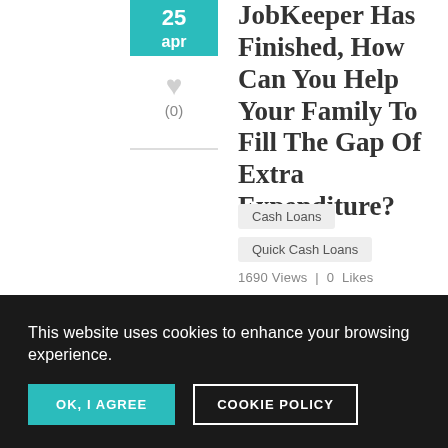JobKeeper Has Finished, How Can You Help Your Family To Fill The Gap Of Extra Expenditure?
Cash Loans
Quick Cash Loans
1690 Views | 0 Likes
This website uses cookies to enhance your browsing experience.